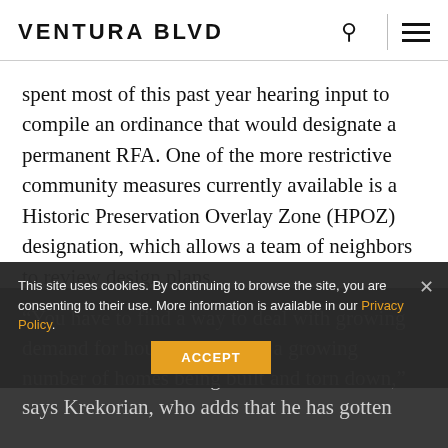VENTURA BLVD
spent most of this past year hearing input to compile an ordinance that would designate a permanent RFA. One of the more restrictive community measures currently available is a Historic Preservation Overlay Zone (HPOZ) designation, which allows a team of neighbors to review design plans.
“You have to find a way to deal with growing demand for housing. There is a growing number of homes being built and torn down,” says Krekorian, who adds that he has gotten
This site uses cookies. By continuing to browse the site, you are consenting to their use. More information is available in our Privacy Policy.
ACCEPT